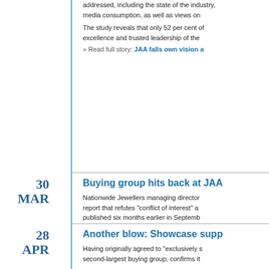addressed, including the state of the industry, media consumption, as well as views on
The study reveals that only 52 per cent of excellence and trusted leadership of the
» Read full story: JAA falls own vision a
30 MAR
Buying group hits back at JAA
Nationwide Jewellers managing director report that refutes "conflict of interest" a published six months earlier in Septemb
The report finds that, of the six directors decision to run its own fair in 2017, five involvement as exhibitors in Expertise Ev abstain from voting due to this conflict.
» Read full story: Nationwide refutes off
28 APR
Another blow: Showcase supp
Having originally agreed to "exclusively s second-largest buying group, confirms it